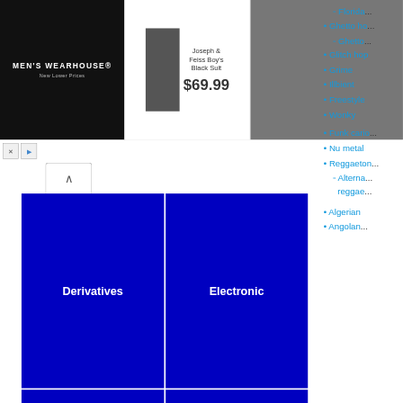[Figure (screenshot): Men's Wearhouse advertisement banner showing logo, Joseph & Feiss Boy's Black Suit at $69.99, and a photo of couple in formal wear]
[Figure (infographic): Blue treemap/grid with cells labeled 'Derivatives', 'Electronic', 'Other', and two unlabeled cells at bottom]
Breakbea...
Baltimo...
Florida...
Ghetto ho...
Ghetto...
Glitch hop
Grime
Illbient
Freestyle
Wonky
Funk cario...
Nu metal
Reggaeton...
Alterna... reggae...
Algerian
Angolan...